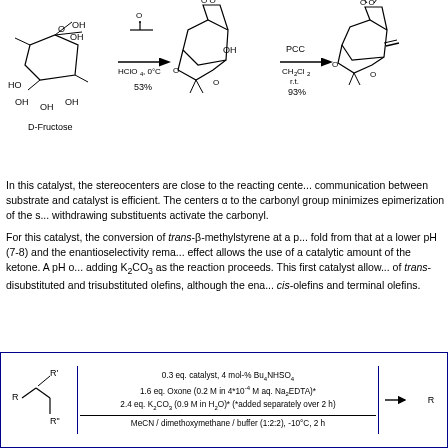[Figure (schematic): Reaction scheme showing D-Fructose converted with acetone/HClO4 at 0°C (53%) to a diacetal intermediate, then with PCC/CH2Cl2/r.t. (93%) to a ketone product. Chemical structures drawn as skeletal formulas with stereochemistry wedges.]
In this catalyst, the stereocenters are close to the reacting centers so communication between substrate and catalyst is efficient. The absence of centers α to the carbonyl group minimizes epimerization of the s... withdrawing substituents activate the carbonyl.
For this catalyst, the conversion of trans-β-methylstyrene at a p... fold from that at a lower pH (7-8) and the enantioselectivity rema... effect allows the use of a catalytic amount of the ketone. A pH o... adding K2CO3 as the reaction proceeds. This first catalyst allows... of trans-disubstituted and trisubstituted olefins, although the ena... cis-olefins and terminal olefins.
[Figure (schematic): Reaction scheme box showing olefin substrate R-CH=CR'R'' reacting under conditions: 0.3 eq. catalyst, 4 mol-% Bu4NHSO4; 1.6 eq. Oxone (0.2 M in 4*10^-4 M aq. Na2EDTA)*; 2.4 eq. K2CO3 (0.9 M in H2O)* (*added separately over 2 h); MeCN/dimethoxymethane/buffer (1:2:2), -10°C, 2 h. Arrow points to product R...]